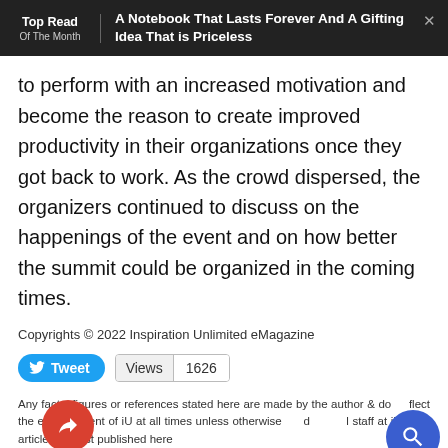Top Read Of The Month | A Notebook That Lasts Forever And A Gifting Idea That is Priceless
to perform with an increased motivation and become the reason to create improved productivity in their organizations once they got back to work. As the crowd dispersed, the organizers continued to discuss on the happenings of the event and on how better the summit could be organized in the coming times.
Copyrights © 2022 Inspiration Unlimited eMagazine
Tweet   Views 1626
Any facts, figures or references stated here are made by the author & do not reflect the endorsement of iU at all times unless otherwise stated by the staff at iU. This article was first published here in December 2015.